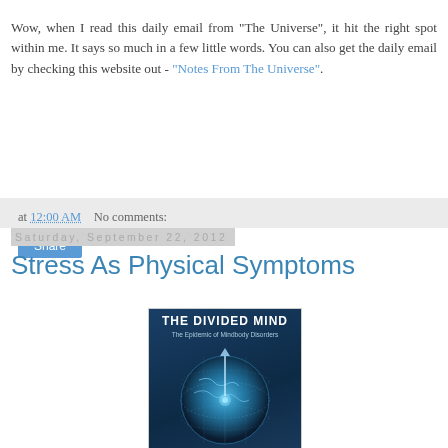Wow, when I read this daily email from "The Universe", it hit the right spot within me.  It says so much in a few little words.  You can also get the daily email  by checking this website out - "Notes From The Universe".
at 12:00 AM   No comments:
Share
Saturday, September 22, 2012
Stress As Physical Symptoms
[Figure (photo): Book cover for 'The Divided Mind: The Epidemic of Mindbody Disorders' showing a glowing digital globe/brain against a dark blue background]